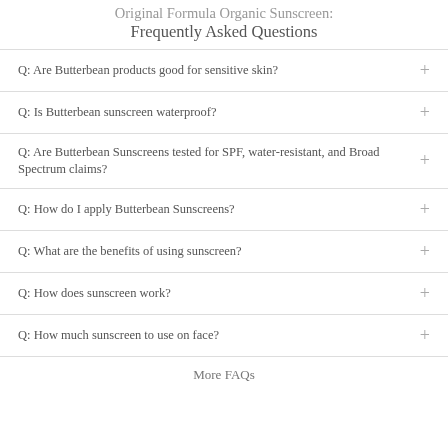Original Formula Organic Sunscreen: Frequently Asked Questions
Q: Are Butterbean products good for sensitive skin?
Q: Is Butterbean sunscreen waterproof?
Q: Are Butterbean Sunscreens tested for SPF, water-resistant, and Broad Spectrum claims?
Q: How do I apply Butterbean Sunscreens?
Q: What are the benefits of using sunscreen?
Q: How does sunscreen work?
Q: How much sunscreen to use on face?
More FAQs